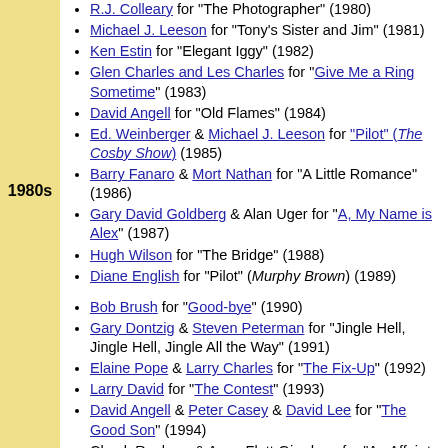1980s
R.J. Colleary for "The Photographer" (1980)
Michael J. Leeson for "Tony's Sister and Jim" (1981)
Ken Estin for "Elegant Iggy" (1982)
Glen Charles and Les Charles for "Give Me a Ring Sometime" (1983)
David Angell for "Old Flames" (1984)
Ed. Weinberger & Michael J. Leeson for "Pilot" (The Cosby Show) (1985)
Barry Fanaro & Mort Nathan for "A Little Romance" (1986)
Gary David Goldberg & Alan Uger for "A, My Name is Alex" (1987)
Hugh Wilson for "The Bridge" (1988)
Diane English for "Pilot" (Murphy Brown) (1989)
Bob Brush for "Good-bye" (1990)
Gary Dontzig & Steven Peterman for "Jingle Hell, Jingle Hell, Jingle All the Way" (1991)
Elaine Pope & Larry Charles for "The Fix-Up" (1992)
Larry David for "The Contest" (1993)
David Angell & Peter Casey & David Lee for "The Good Son" (1994)
Chuck Ranberg & Anne Flett-Giordano for "An Affair to Forget" (1995)